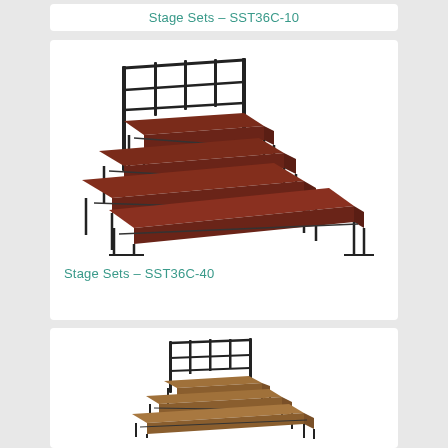Stage Sets – SST36C-10
[Figure (photo): Multi-tier stage set with red carpet platforms and black metal frame, shown with guardrails at back, perspective view. Product SST36C-40.]
Stage Sets – SST36C-40
[Figure (photo): Smaller multi-tier stage set with brown/tan carpet platforms and black metal frame, shown with guardrails at back, perspective view.]